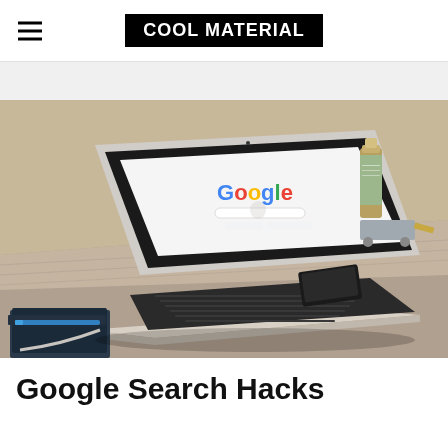COOL MATERIAL
[Figure (photo): MacBook Air laptop open on a wooden desk showing the Google homepage, with a smartphone and decorative items in the background]
Google Search Hacks